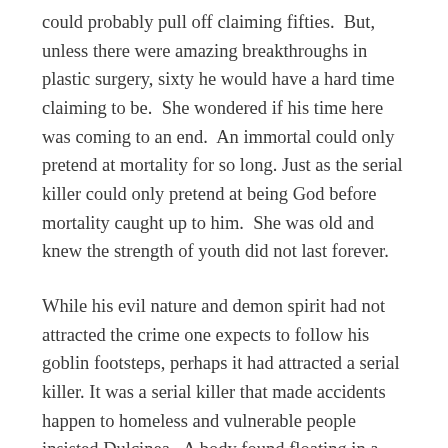could probably pull off claiming fifties.  But, unless there were amazing breakthroughs in plastic surgery, sixty he would have a hard time claiming to be.  She wondered if his time here was coming to an end.  An immortal could only pretend at mortality for so long. Just as the serial killer could only pretend at being God before mortality caught up to him.  She was old and knew the strength of youth did not last forever.
While his evil nature and demon spirit had not attracted the crime one expects to follow his goblin footsteps, perhaps it had attracted a serial killer. It was a serial killer that made accidents happen to homeless and vulnerable people insisted Dulcinea.  A body found floating in a canal, someone hit by a train, a person slipping